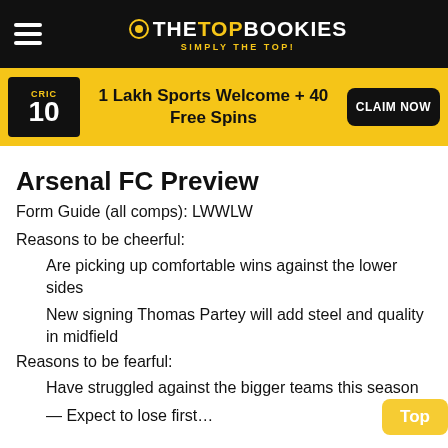THE TOP BOOKIES — SIMPLY THE TOP!
[Figure (infographic): 10CRIC promotional banner: 1 Lakh Sports Welcome + 40 Free Spins, CLAIM NOW button]
Arsenal FC Preview
Form Guide (all comps): LWWLW
Reasons to be cheerful:
Are picking up comfortable wins against the lower sides
New signing Thomas Partey will add steel and quality in midfield
Reasons to be fearful:
Have struggled against the bigger teams this season
Expect to lose first…